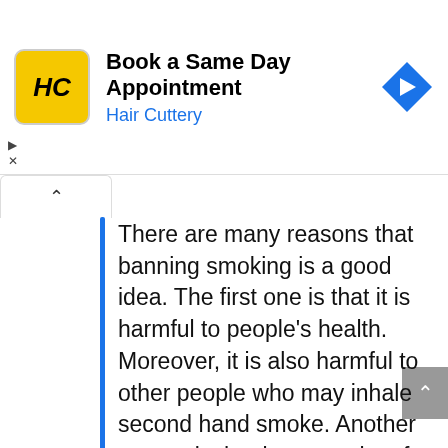[Figure (screenshot): Advertisement banner for Hair Cuttery: logo with HC letters on yellow background, text 'Book a Same Day Appointment' and 'Hair Cuttery' in blue, blue diamond arrow icon on right]
There are many reasons that banning smoking is a good idea. The first one is that it is harmful to people’s health. Moreover, it is also harmful to other people who may inhale second hand smoke. Another reason is that it costs a lot of money that could be better spend on other things. The final reason is that it is has a negative impact on the environment.
This paragraph includes a new main idea for every sentence. 4 sentences, 4 main ideas – band 5 for task achievement!